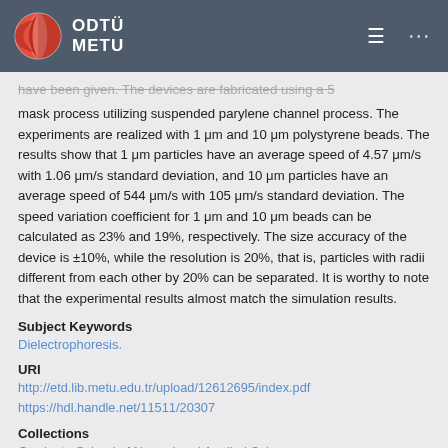[Figure (logo): ODTÜ METU university logo with red and white circle emblem on dark grey header bar with hamburger menu and dots menu icons]
have been given. The devices are fabricated using a 5 mask process utilizing suspended parylene channel process. The experiments are realized with 1 μm and 10 μm polystyrene beads. The results show that 1 μm particles have an average speed of 4.57 μm/s with 1.06 μm/s standard deviation, and 10 μm particles have an average speed of 544 μm/s with 105 μm/s standard deviation. The speed variation coefficient for 1 μm and 10 μm beads can be calculated as 23% and 19%, respectively. The size accuracy of the device is ±10%, while the resolution is 20%, that is, particles with radii different from each other by 20% can be separated. It is worthy to note that the experimental results almost match the simulation results.
Subject Keywords
Dielectrophoresis.
URI
http://etd.lib.metu.edu.tr/upload/12612695/index.pdf
https://hdl.handle.net/11511/20307
Collections
Graduate School of Natural and Applied Sciences